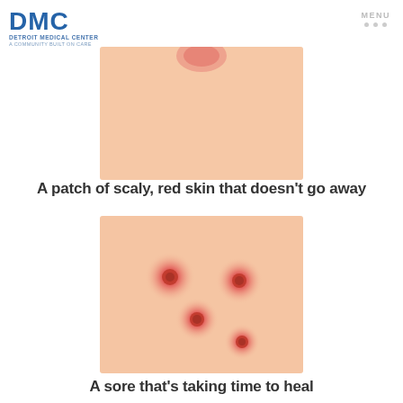DMC Detroit Medical Center — A Community Built on Care | MENU
[Figure (illustration): Illustration of skin tone patch showing scaly red skin area, partially cropped at top]
A patch of scaly, red skin that doesn't go away
[Figure (illustration): Illustration of skin with four red sore spots/lesions with radial glow effect on peach skin background]
A sore that's taking time to heal